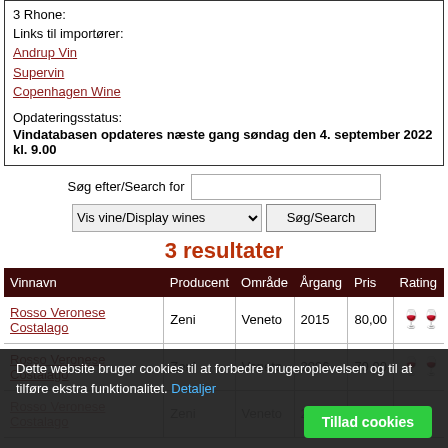3 Rhone:
Links til importører:
Andrup Vin
Supervin
Copenhagen Wine
Opdateringsstatus:
Vindatabasen opdateres næste gang søndag den 4. september 2022 kl. 9.00
Søg efter/Search for
Vis vine/Display wines    Søg/Search
3 resultater
| Vinnavn | Producent | Område | Årgang | Pris | Rating |
| --- | --- | --- | --- | --- | --- |
| Rosso Veronese Costalago | Zeni | Veneto | 2015 | 80,00 | 🍷🍷 |
| Rosso Veronese Costalago | Zeni | Veneto | 2006 | 79,00 | 🍷🍷 |
| Rosso Veronese Costalago | Zeni | Veneto | 2006 | 79,00 |  |
Dette website bruger cookies til at forbedre brugeroplevelsen og til at tilføre ekstra funktionalitet. Detaljer
Tillad cookies